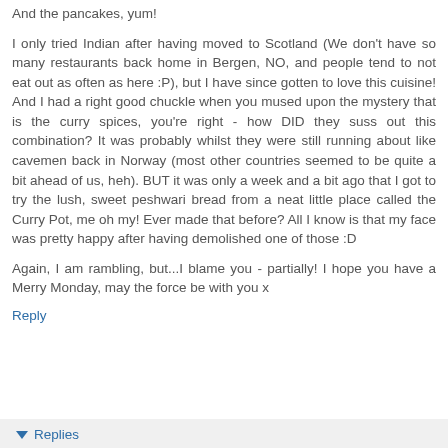And the pancakes, yum!
I only tried Indian after having moved to Scotland (We don't have so many restaurants back home in Bergen, NO, and people tend to not eat out as often as here :P), but I have since gotten to love this cuisine! And I had a right good chuckle when you mused upon the mystery that is the curry spices, you're right - how DID they suss out this combination? It was probably whilst they were still running about like cavemen back in Norway (most other countries seemed to be quite a bit ahead of us, heh). BUT it was only a week and a bit ago that I got to try the lush, sweet peshwari bread from a neat little place called the Curry Pot, me oh my! Ever made that before? All I know is that my face was pretty happy after having demolished one of those :D
Again, I am rambling, but...I blame you - partially! I hope you have a Merry Monday, may the force be with you x
Reply
Replies